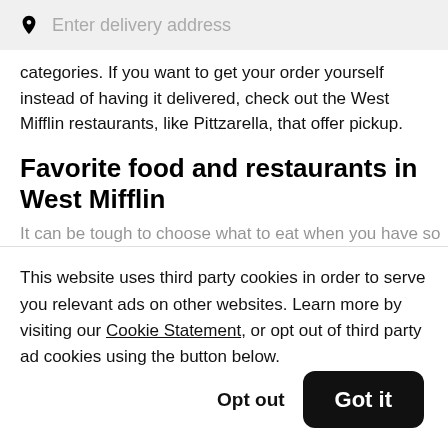Enter delivery address
categories. If you want to get your order yourself instead of having it delivered, check out the West Mifflin restaurants, like Pittzarella, that offer pickup.
Favorite food and restaurants in West Mifflin
It can be tough to choose what to eat when you have so
This website uses third party cookies in order to serve you relevant ads on other websites. Learn more by visiting our Cookie Statement, or opt out of third party ad cookies using the button below.
Opt out  Got it